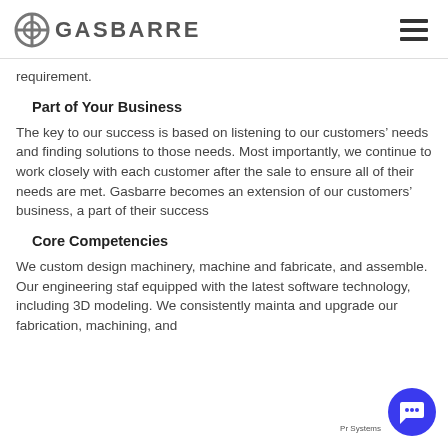GASBARRE
requirement.
Part of Your Business
The key to our success is based on listening to our customers’ needs and finding solutions to those needs. Most importantly, we continue to work closely with each customer after the sale to ensure all of their needs are met. Gasbarre becomes an extension of our customers’ business, a part of their success
Core Competencies
We custom design machinery, machine and fabricate, and assemble. Our engineering staff equipped with the latest software technology, including 3D modeling. We consistently mainta and upgrade our fabrication, machining, and